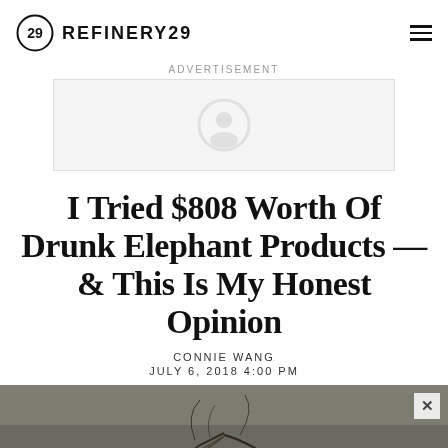REFINERY29
ADVERTISEMENT
[Figure (other): Advertisement placeholder box with faint icon]
I Tried $808 Worth Of Drunk Elephant Products — & This Is My Honest Opinion
CONNIE WANG
JULY 6, 2018 4:00 PM
[Figure (photo): Top of a person's head with dark hair, grey-green background, partial face photo]